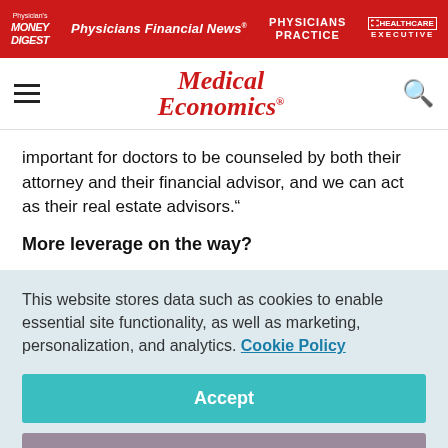Physician's Money Digest | Physicians Financial News | Physicians Practice | Healthcare Executive
Medical Economics
important for doctors to be counseled by both their attorney and their financial advisor, and we can act as their real estate advisors."
More leverage on the way?
Esker explains that, according to a recent industry report, ten
This website stores data such as cookies to enable essential site functionality, as well as marketing, personalization, and analytics. Cookie Policy
Accept
Deny